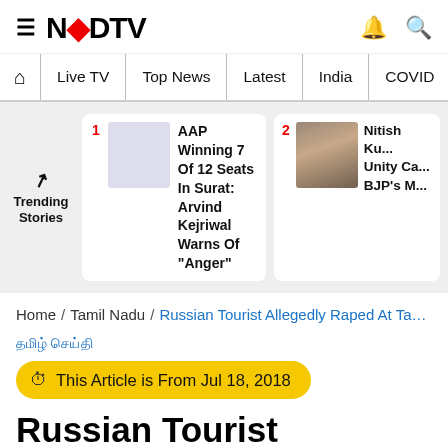NDTV
Live TV | Top News | Latest | India | COVID
[Figure (infographic): Trending Stories section with two cards: 1. AAP Winning 7 Of 12 Seats In Surat: Arvind Kejriwal Warns Of 'Anger'; 2. Nitish Ku... Unity Ca... BJP's M...]
Home / Tamil Nadu / Russian Tourist Allegedly Raped At Tamil...
தமிழ் செய்தி
This Article is From Jul 18, 2018
Russian Tourist Allegedly Raped At Tamil Nadu Guest House, 4 Detained